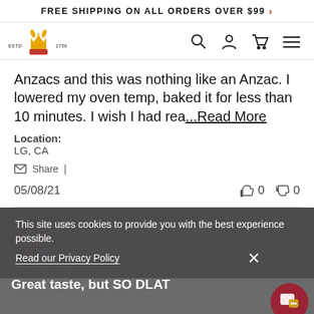FREE SHIPPING ON ALL ORDERS OVER $99 >
[Figure (logo): Brand logo with crown/wheat icon, ESTD 1750 text]
Anzacs and this was nothing like an Anzac. I lowered my oven temp, baked it for less than 10 minutes. I wish I had rea...Read More
Location: LG, CA
Share | 05/08/21  👍 0  👎 0
Christopher M.
★★★☆☆
Recommend: No
Great taste, but SO DLAT
This site uses cookies to provide you with the best experience possible. Read our Privacy Policy  X